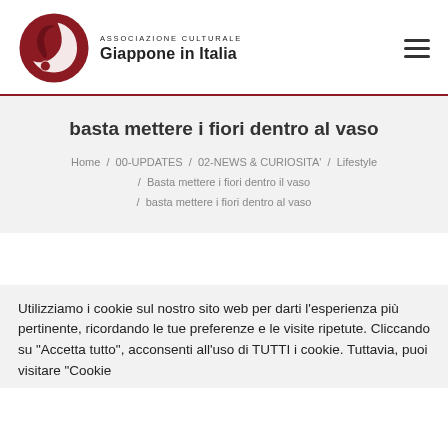[Figure (logo): Associazione Culturale Giappone in Italia logo — dark red circular emblem with stylized bird/shape, next to text 'ASSOCIAZIONE CULTURALE' and 'Giappone in Italia']
basta mettere i fiori dentro al vaso
Home / 00-UPDATES / 02-NEWS & CURIOSITA' / Lifestyle / Basta mettere i fiori dentro il vaso / basta mettere i fiori dentro al vaso
Utilizziamo i cookie sul nostro sito web per darti l'esperienza più pertinente, ricordando le tue preferenze e le visite ripetute. Cliccando su "Accetta tutto", acconsenti all'uso di TUTTI i cookie. Tuttavia, puoi visitare "Cookie